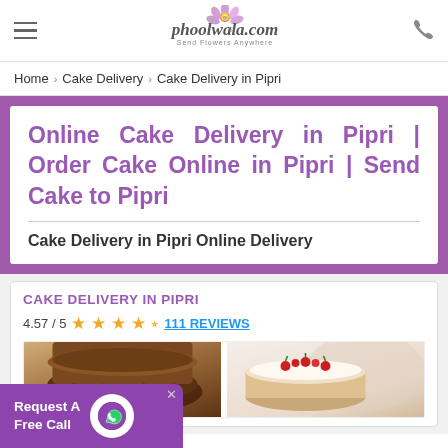phoolwala.com - Send Flowers Anywhere
Home › Cake Delivery › Cake Delivery in Pipri
Online Cake Delivery in Pipri | Order Cake Online in Pipri | Send Cake to Pipri
Cake Delivery in Pipri Online Delivery
CAKE DELIVERY IN PIPRI
4.57 / 5  111 REVIEWS
[Figure (photo): Chocolate cake product image]
[Figure (photo): Cream cake with cherries product image]
Request A Free Call